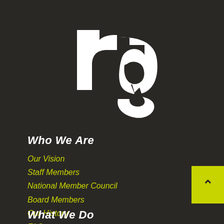[Figure (logo): White 'rg' logo with stylized letterforms on dark background]
Who We Are
Our Vision
Staff Members
National Member Council
Board Members
Our History
FAQs
What We Do